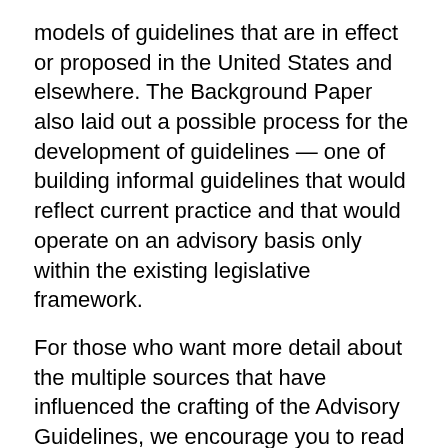models of guidelines that are in effect or proposed in the United States and elsewhere. The Background Paper also laid out a possible process for the development of guidelines — one of building informal guidelines that would reflect current practice and that would operate on an advisory basis only within the existing legislative framework.
For those who want more detail about the multiple sources that have influenced the crafting of the Advisory Guidelines, we encourage you to read the Background Paper.[14]
The second stage of the project involved working with a small group of family law experts to discuss developing spousal support guidelines. Those discussions were supplemented by some additional small-scale consultations with other groups of lawyers and judges. The federal Department of Justice constituted what was initially a twelve (now thirteen) person Advisory Working Group on Family Law composed of lawyers, judges, and mediators